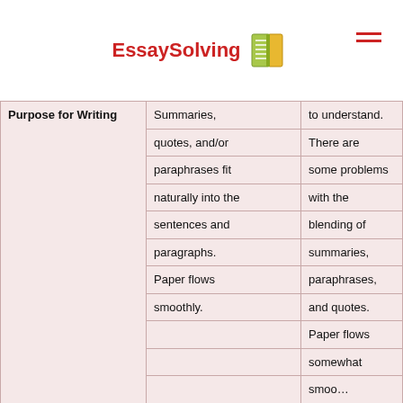EssaySolving
| Purpose for Writing |  |  |
| --- | --- | --- |
|  | Summaries, | to understand. |
|  | quotes, and/or | There are |
|  | paraphrases fit | some problems |
|  | naturally into the | with the |
|  | sentences and | blending of |
|  | paragraphs. | summaries, |
|  | Paper flows | paraphrases, |
|  | smoothly. | and quotes. |
|  |  | Paper flows |
|  |  | somewhat |
|  |  | smoo... |
|  | - Displays |  |